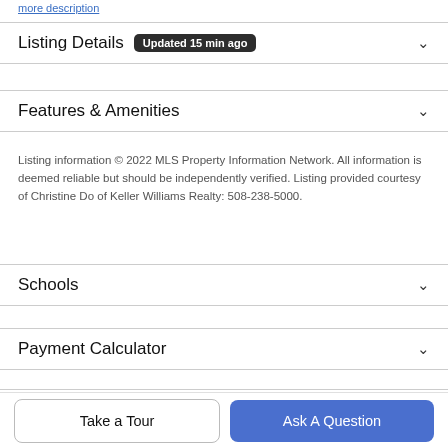more description
Listing Details  Updated 15 min ago
Features & Amenities
Listing information © 2022 MLS Property Information Network. All information is deemed reliable but should be independently verified. Listing provided courtesy of Christine Do of Keller Williams Realty: 508-238-5000.
Schools
Payment Calculator
Contact Agent
Take a Tour
Ask A Question